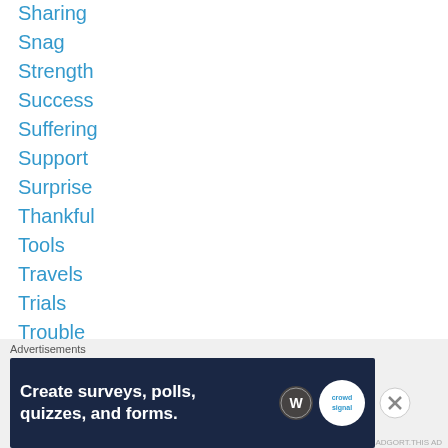Sharing
Snag
Strength
Success
Suffering
Support
Surprise
Thankful
Tools
Travels
Trials
Trouble
Trust
Truth
Uncategorized
Understanding
Vacation
[Figure (infographic): Advertisement banner: 'Create surveys, polls, quizzes, and forms.' on dark navy background with WordPress and Crowdsignal logos. Labeled 'Advertisements' above.]